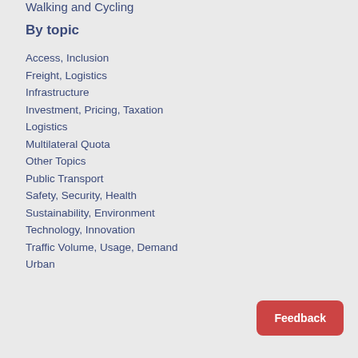Walking and Cycling
By topic
Access, Inclusion
Freight, Logistics
Infrastructure
Investment, Pricing, Taxation
Logistics
Multilateral Quota
Other Topics
Public Transport
Safety, Security, Health
Sustainability, Environment
Technology, Innovation
Traffic Volume, Usage, Demand
Urban
Feedback